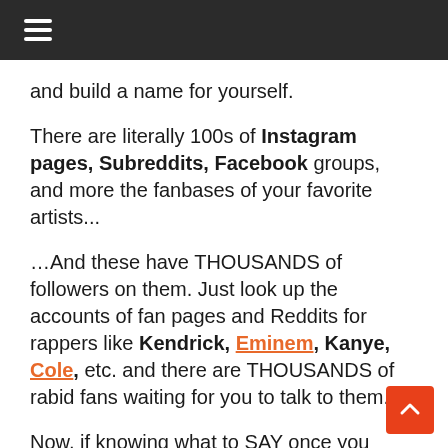≡ (hamburger menu)
and build a name for yourself.
There are literally 100s of Instagram pages, Subreddits, Facebook groups, and more the fanbases of your favorite artists...
…And these have THOUSANDS of followers on them. Just look up the accounts of fan pages and Reddits for rappers like Kendrick, Eminem, Kanye, Cole, etc. and there are THOUSANDS of rabid fans waiting for you to talk to them.
Now, if knowing what to SAY once you enter these soundalike communities is a big issue for